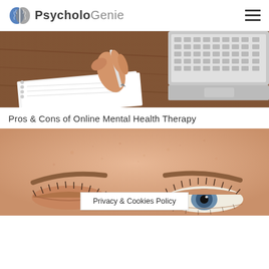PsycholoGenie
[Figure (photo): Close-up of a hand holding a pen over a notebook with a laptop keyboard in the background on a wooden desk]
Pros & Cons of Online Mental Health Therapy
[Figure (photo): Close-up of a person's face showing forehead and eyebrows, one eye partially open]
Privacy & Cookies Policy